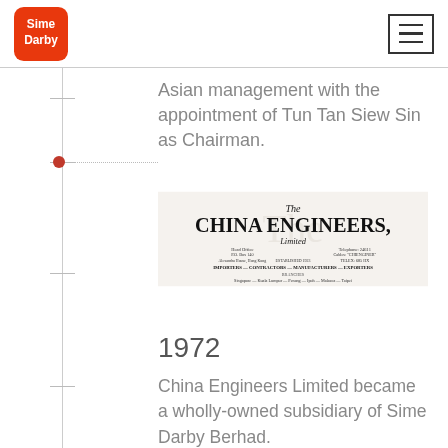Sime Darby
Asian management with the appointment of Tun Tan Siew Sin as Chairman.
[Figure (photo): Historical letterhead of The China Engineers, Limited showing head office address, telephone, cables, established date, and branches in Singapore, Kuala Lumpur, Penang, Ipoh, Malacca, Taipei]
1972
China Engineers Limited became a wholly-owned subsidiary of Sime Darby Berhad.